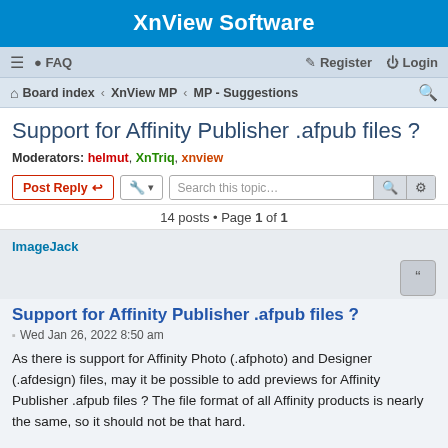XnView Software
≡  FAQ   Register  Login
Board index › XnView MP › MP - Suggestions
Support for Affinity Publisher .afpub files ?
Moderators: helmut, XnTriq, xnview
Post Reply   Tools   Search this topic...   14 posts • Page 1 of 1
ImageJack
Support for Affinity Publisher .afpub files ?
Wed Jan 26, 2022 8:50 am
As there is support for Affinity Photo (.afphoto) and Designer (.afdesign) files, may it be possible to add previews for Affinity Publisher .afpub files ? The file format of all Affinity products is nearly the same, so it should not be that hard.

Looking forward for it ...